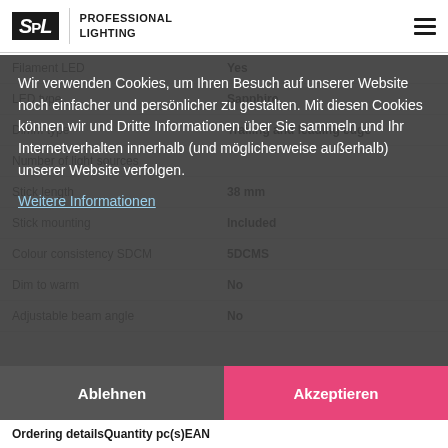SPL PROFESSIONAL LIGHTING
| Property | Value |
| --- | --- |
| Filament LED | Yes |
| LED type | Sapphire |
| Dimm type | Trailing and leading edge |
| Number of light sources |  |
| Stick length | 38 mm |
| Stick mounting | Included |
| Colour consistency SDCM | 5DCMS |
| Dim to warm | No |
| Adjustable beam angle | No |
Wir verwenden Cookies, um Ihren Besuch auf unserer Website noch einfacher und persönlicher zu gestalten. Mit diesen Cookies können wir und Dritte Informationen über Sie sammeln und Ihr Internetverhalten innerhalb (und möglicherweise außerhalb) unserer Website verfolgen.
Weitere Informationen
Ablehnen
Akzeptieren
Ordering details   Quantity pc(s)   EAN